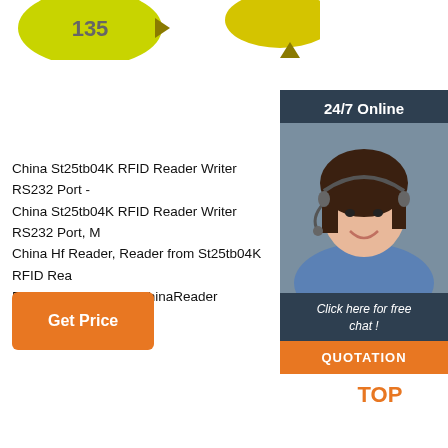[Figure (illustration): Yellow/green RFID ear tags and arrow-shaped tags, partially cropped at top]
[Figure (photo): 24/7 Online support sidebar with a smiling woman wearing a headset, Click here for free chat text, and QUOTATION button]
China St25tb04K RFID Reader Writer RS232 Port - China St25tb04K RFID Reader Writer RS232 Port, M China Hf Reader, Reader from St25tb04K RFID Rea RS232 Port - Beijing ChinaReader Technology Co.,
[Figure (other): Get Price orange button]
[Figure (other): TOP button with orange dots arranged in triangle above the word TOP]